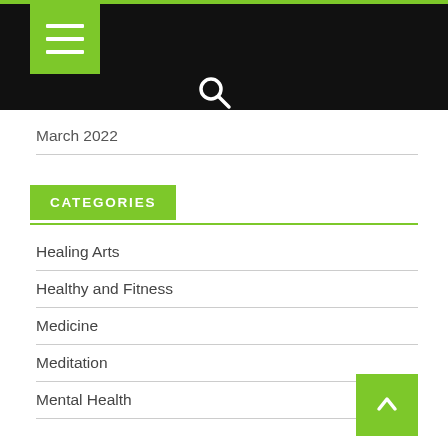Navigation bar with menu and search
March 2022
CATEGORIES
Healing Arts
Healthy and Fitness
Medicine
Meditation
Mental Health